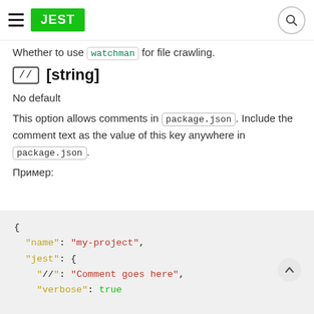≡ JEST [search icon]
Whether to use `watchman` for file crawling.
// [string]
No default
This option allows comments in `package.json`. Include the comment text as the value of this key anywhere in `package.json`.
Пример:
{
  "name": "my-project",
  "jest": {
    "//": "Comment goes here",
    "verbose": true